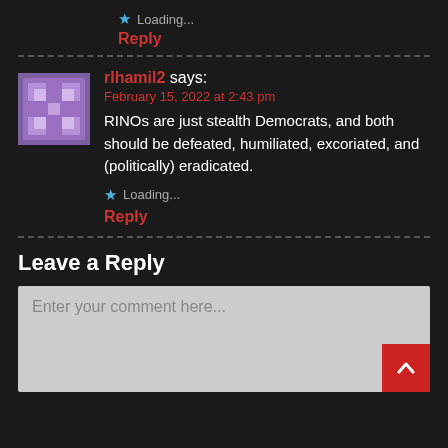★ Loading...
Reply
rlhamil2 says:
February 15, 2022 at 2:43 pm
RINOs are just stealth Democrats, and both should be defeated, humiliated, excoriated, and (politically) eradicated.
★ Loading...
Reply
Leave a Reply
Enter your comment here...